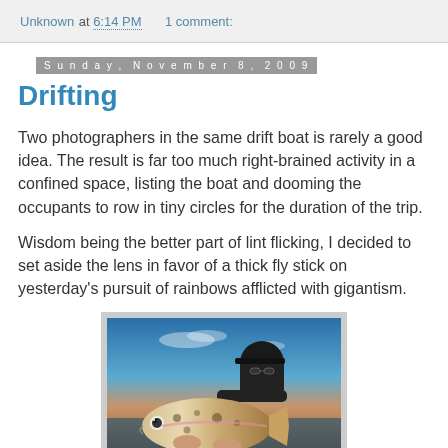Unknown at 6:14 PM    1 comment:
Sunday, November 8, 2009
Drifting
Two photographers in the same drift boat is rarely a good idea. The result is far too much right-brained activity in a confined space, listing the boat and dooming the occupants to row in tiny circles for the duration of the trip.
Wisdom being the better part of lint flicking, I decided to set aside the lens in favor of a thick fly stick on yesterday's pursuit of rainbows afflicted with gigantism.
[Figure (photo): A person holding a large rainbow trout with blue sky background, watermark reads JAYMORE PHOTOGRAPHY]